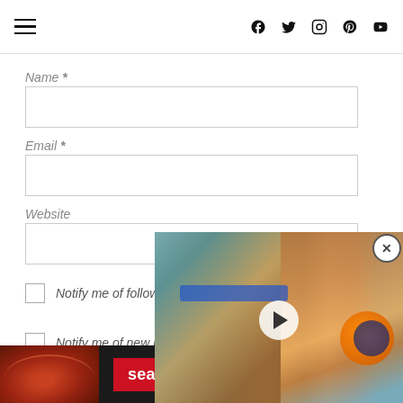Navigation bar with hamburger menu and social icons: Facebook, Twitter, Instagram, Pinterest, YouTube
Name *
Email *
Website
Notify me of follow-up comments by email.
Notify me of new posts by email.
[Figure (screenshot): Video overlay showing a dog with a blue collar holding an orange and blue toy, with a white play button in the center, and a close (X) button in the top right corner]
CLOSE
[Figure (screenshot): Advertisement banner for Seamless showing pizza slices on dark background with red Seamless button and ORDER NOW button]